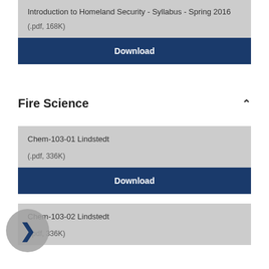Introduction to Homeland Security - Syllabus - Spring 2016
(.pdf, 168K)
Download
Fire Science
Chem-103-01 Lindstedt
(.pdf, 336K)
Download
Chem-103-02 Lindstedt
(.pdf, 336K)